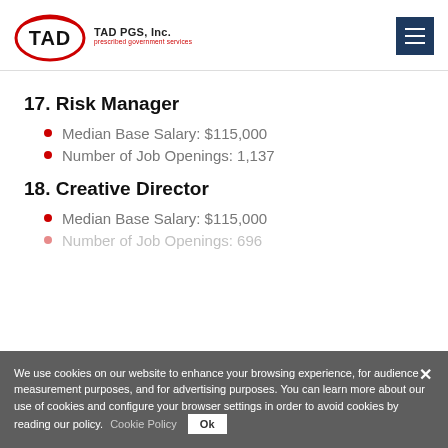TAD PGS, Inc. — prescribed government services
17. Risk Manager
Median Base Salary: $115,000
Number of Job Openings: 1,137
18. Creative Director
Median Base Salary: $115,000
Number of Job Openings: 696
We use cookies on our website to enhance your browsing experience, for audience measurement purposes, and for advertising purposes. You can learn more about our use of cookies and configure your browser settings in order to avoid cookies by reading our policy. Cookie Policy Ok